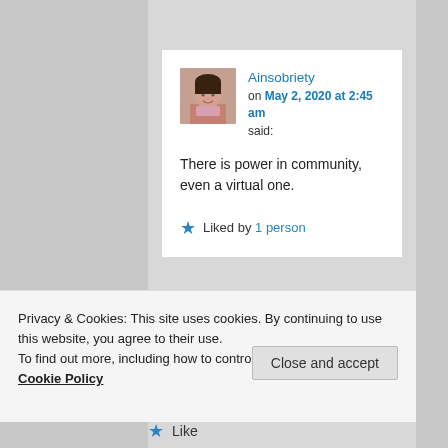[Figure (screenshot): Blog comment card showing user Ainsobriety with avatar photo, date May 2 2020 at 2:45 am, comment text 'There is power in community, even a virtual one.', and 'Liked by 1 person']
Ainsobriety on May 2, 2020 at 2:45 am said: There is power in community, even a virtual one.
Liked by 1 person
Privacy & Cookies: This site uses cookies. By continuing to use this website, you agree to their use.
To find out more, including how to control cookies, see here: Cookie Policy
Close and accept
Like